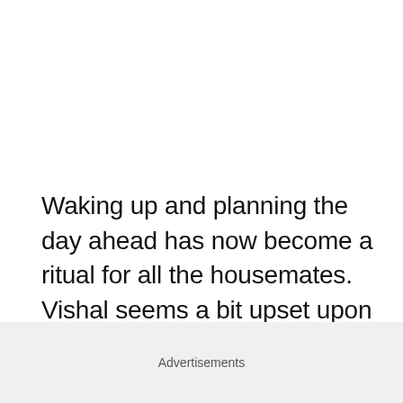Waking up and planning the day ahead has now become a ritual for all the housemates. Vishal seems a bit upset upon seeing the washroom left dirty.

So, he complains to Vikas and asks him to inform
Advertisements